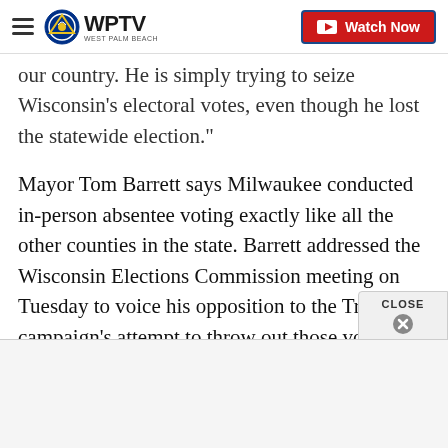WPTV (West Palm Beach)
our country. He is simply trying to seize Wisconsin's electoral votes, even though he lost the statewide election."
Mayor Tom Barrett says Milwaukee conducted in-person absentee voting exactly like all the other counties in the state. Barrett addressed the Wisconsin Elections Commission meeting on Tuesday to voice his opposition to the Trump campaign's attempt to throw out those votes.
"They are challenging the entire election system in